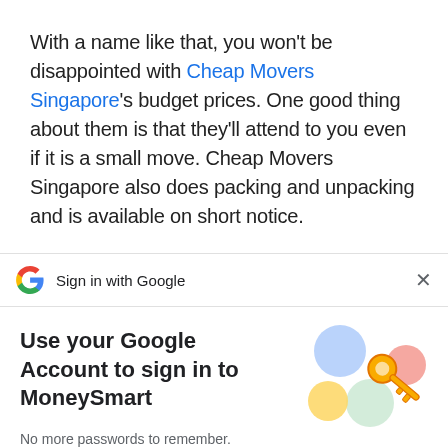With a name like that, you won't be disappointed with Cheap Movers Singapore's budget prices. One good thing about them is that they'll attend to you even if it is a small move. Cheap Movers Singapore also does packing and unpacking and is available on short notice.
Sign in with Google
Use your Google Account to sign in to MoneySmart
No more passwords to remember. Signing in is fast, simple and secure.
[Figure (illustration): Google key illustration with colorful circles and a golden key]
Continue